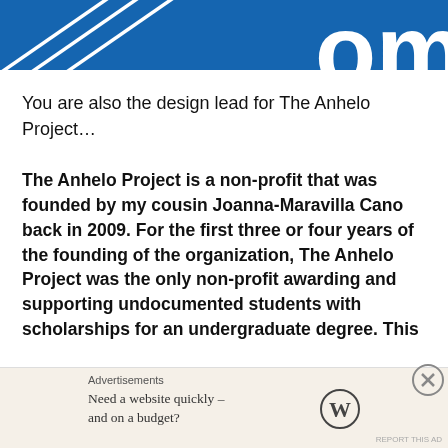[Figure (photo): Blue banner with white diagonal stripes on left and large white text 'om' or similar on right, cropped at top]
You are also the design lead for The Anhelo Project…
The Anhelo Project is a non-profit that was founded by my cousin Joanna-Maravilla Cano back in 2009. For the first three or four years of the founding of the organization, The Anhelo Project was the only non-profit awarding and supporting undocumented students with scholarships for an undergraduate degree. This
Advertisements
Need a website quickly – and on a budget?